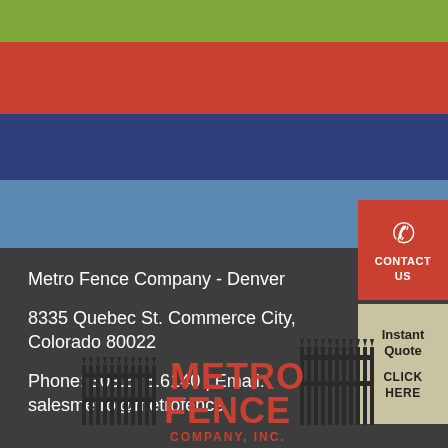[Figure (logo): Metro Fence Company website screenshot showing green, red, dark blue, and light blue horizontal navigation bars at top, dark gray footer area with company contact info and Metro Fence Company Inc. logo at bottom, with red CONTACT US button and beige Instant Quote CLICK HERE button on right side.]
Metro Fence Company - Denver
8335 Quebec St. Commerce City, Colorado 80022
Phone: 303.578.6140 | Email: salesmetro@metrofence
[Figure (logo): Metro Fence Company, Inc. logo with black fence silhouette and red bold text reading METRO FENCE COMPANY, INC.]